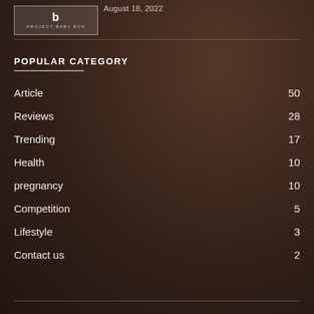[Figure (logo): Project Baby Box logo with stylized 'b' and text PROJECT BABY BOX in a bordered box]
August 18, 2022
POPULAR CATEGORY
Article 50
Reviews 28
Trending 17
Health 10
pregnancy 10
Competition 5
Lifestyle 3
Contact us 2